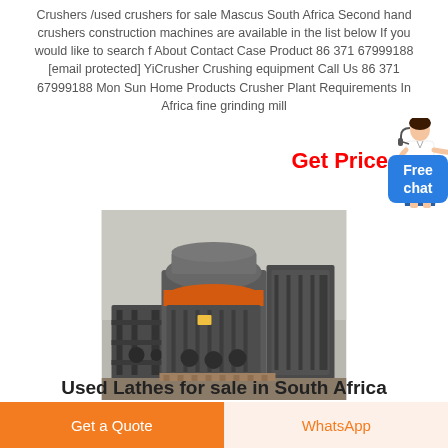Crushers /used crushers for sale Mascus South Africa Second hand crushers construction machines are available in the list below If you would like to search f About Contact Case Product 86 371 67999188 [email protected] YiCrusher Crushing equipment Call Us 86 371 67999188 Mon Sun Home Products Crusher Plant Requirements In Africa fine grinding mill
Get Price
[Figure (photo): Industrial crusher machine — a cone crusher mounted on a heavy steel frame, photographed in a factory setting. The machine has a distinctive orange ring near the top and grey steel body.]
Used Lathes for sale in South Africa
Get a Quote
WhatsApp